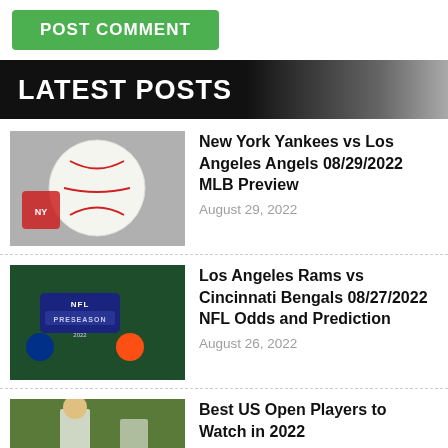[Figure (screenshot): Green POST COMMENT button]
LATEST POSTS
[Figure (photo): Baseball with Yankees logo thumbnail]
New York Yankees vs Los Angeles Angels 08/29/2022 MLB Preview
August 29, 2022
[Figure (photo): NFL Preseason logo thumbnail]
Los Angeles Rams vs Cincinnati Bengals 08/27/2022 NFL Odds and Prediction
August 26, 2022
[Figure (photo): US Open players thumbnail]
Best US Open Players to Watch in 2022
August 25, 2022
[Figure (photo): NFL Preseason logo thumbnail for Green Bay vs Kansas City]
Green Bay Packers vs Kansas City Chiefs 08/25/2022 NFL Odds and Prediction